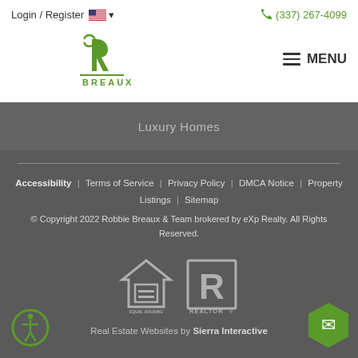Login / Register  (337) 267-4099
[Figure (logo): Breaux real estate logo with stylized R and BREAUX text]
Luxury Homes
Accessibility  |  Terms of Service  |  Privacy Policy  |  DMCA Notice  |  Property Listings  |  Sitemap
© Copyright 2022 Robbie Breaux & Team brokered by eXp Realty. All Rights Reserved.
[Figure (logo): Equal Housing Opportunity logo and REALTOR logo]
Real Estate Websites by Sierra Interactive